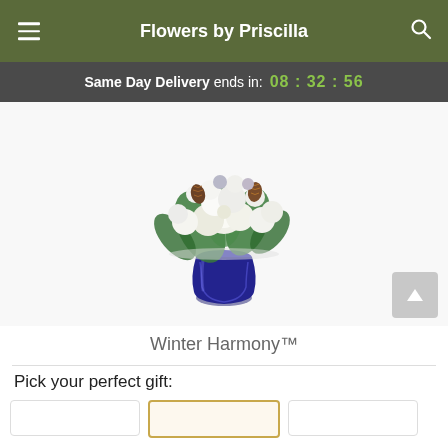Flowers by Priscilla
Same Day Delivery ends in: 08 : 32 : 56
[Figure (photo): Winter Harmony flower bouquet in a blue vase with white roses, lilies, chrysanthemums, and pine cones]
Winter Harmony™
Pick your perfect gift: